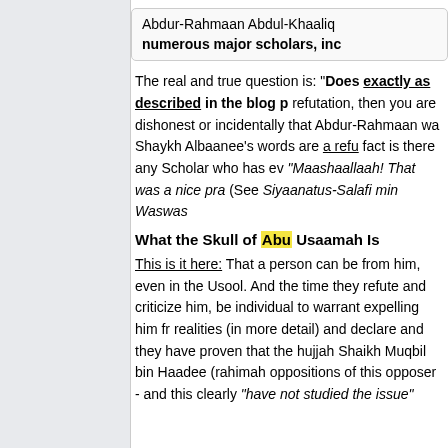Abdur-Rahmaan Abdul-Khaaliq numerous major scholars, inc
The real and true question is: "Does exactly as described in the blog p refutation, then you are dishonest or incidentally that Abdur-Rahmaan wa Shaykh Albaanee's words are a refu fact is there any Scholar who has ev "Maashaallaah! That was a nice pra (See Siyaanatus-Salafi min Waswas
What the Skull of Abu Usaamah Is
This is it here: That a person can be from him, even in the Usool. And the time they refute and criticize him, be individual to warrant expelling him fr realities (in more detail) and declare and they have proven that the hujjah Shaikh Muqbil bin Haadee (rahimah oppositions of this opposer - and this clearly "have not studied the issue"